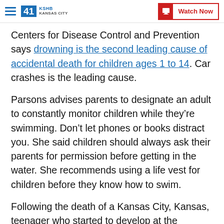41 KSHB Kansas City | Watch Now
Centers for Disease Control and Prevention says drowning is the second leading cause of accidental death for children ages 1 to 14. Car crashes is the leading cause.
Parsons advises parents to designate an adult to constantly monitor children while they’re swimming. Don’t let phones or books distract you. She said children should always ask their parents for permission before getting in the water. She recommends using a life vest for children before they know how to swim.
Following the death of a Kansas City, Kansas, teenager who started to develop at the Parkwood Perking